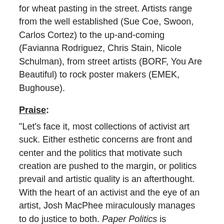for wheat pasting in the street. Artists range from the well established (Sue Coe, Swoon, Carlos Cortez) to the up-and-coming (Favianna Rodriguez, Chris Stain, Nicole Schulman), from street artists (BORF, You Are Beautiful) to rock poster makers (EMEK, Bughouse).
Praise:
"Let's face it, most collections of activist art suck. Either esthetic concerns are front and center and the politics that motivate such creation are pushed to the margin, or politics prevail and artistic quality is an afterthought. With the heart of an activist and the eye of an artist, Josh MacPhee miraculously manages to do justice to both. Paper Politics is singularly impressive." —Stephen Duncombe, author of Dream: Re-imagining Progressive Politics in an Age of Fantasy
"For all of those who claim that poster art is dead in the age of YouTube and Blogs, Paper Politics will wheatpaste another message over your computer monitor. This exhibition and book is a testament to the vibrant trajectory of printmaking in the service of social change, including examples of earlier movements and artists as well as the graphics popping up right now. Obscure and familiar subjects are presented with wit, joy, and searing satire, guaranteed to snap your senses and challenge your opinions. It took a village to